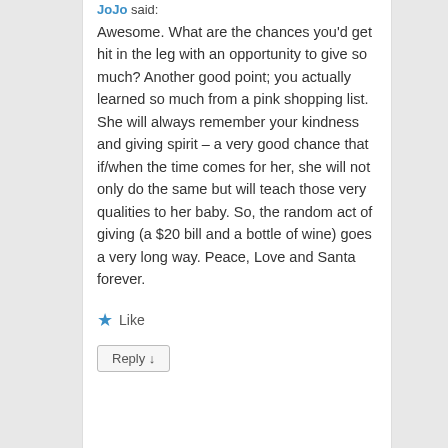JoJo said:
Awesome. What are the chances you'd get hit in the leg with an opportunity to give so much? Another good point; you actually learned so much from a pink shopping list.
She will always remember your kindness and giving spirit – a very good chance that if/when the time comes for her, she will not only do the same but will teach those very qualities to her baby. So, the random act of giving (a $20 bill and a bottle of wine) goes a very long way. Peace, Love and Santa forever.
★ Like
Reply ↓